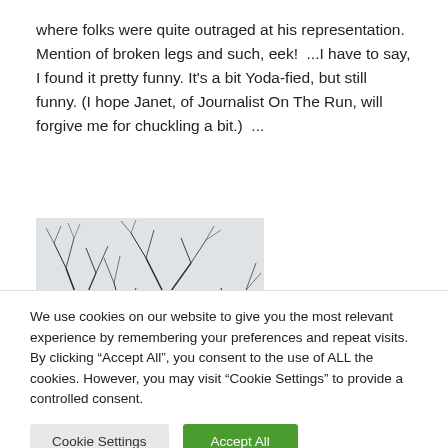where folks were quite outraged at his representation. Mention of broken legs and such, eek!  ...I have to say, I found it pretty funny. It's a bit Yoda-fied, but still funny. (I hope Janet, of Journalist On The Run, will forgive me for chuckling a bit.)  ...
[Figure (photo): Black and white photograph of bare tree branches against a light sky, with a dark band at the bottom suggesting a snowy or misty landscape.]
We use cookies on our website to give you the most relevant experience by remembering your preferences and repeat visits. By clicking “Accept All”, you consent to the use of ALL the cookies. However, you may visit "Cookie Settings" to provide a controlled consent.